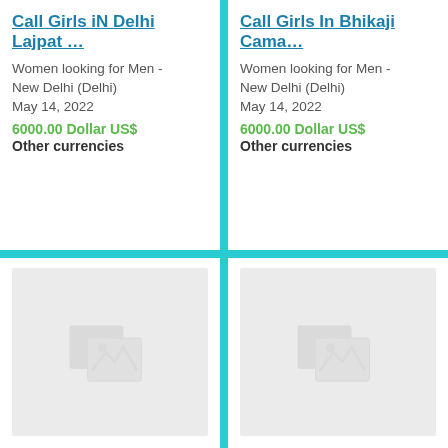Call Girls iN Delhi Lajpat …
Women looking for Men -
New Delhi (Delhi)
May 14, 2022
6000.00 Dollar US$
Other currencies
Call Girls In Bhikaji Cama…
Women looking for Men -
New Delhi (Delhi)
May 14, 2022
6000.00 Dollar US$
Other currencies
[Figure (photo): Broken image placeholder for listing]
Call Girls In Malviya Naga…
Women looking for Men -
Bombooflat (Delhi)
May 14, 2022
6000.00 Dollar US$
Other currencies
[Figure (photo): Broken image placeholder for listing]
Call Girls In Majnu KA tIL…
Women looking for Men -
Bombooflat (Delhi)
May 14, 2022
6000.00 Dollar US$
Other currencies
[Figure (photo): Broken image placeholder bottom left]
[Figure (photo): Broken image placeholder bottom right]